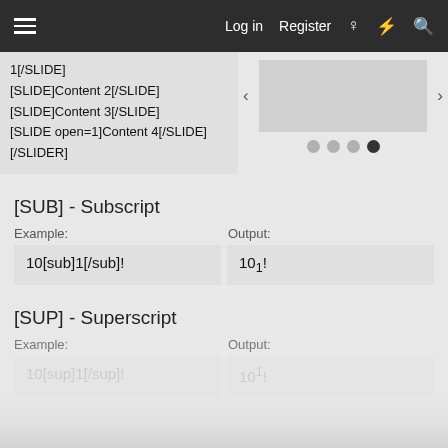Log in  Register
1[/SLIDE]
[SLIDE]Content 2[/SLIDE]
[SLIDE]Content 3[/SLIDE]
[SLIDE open=1]Content 4[/SLIDE]
[/SLIDER]
[SUB] - Subscript
Example:
10[sub]1[/sub]!
Output:
101!
[SUP] - Superscript
Example:
10[sup]1[/sup]!
Output:
101!